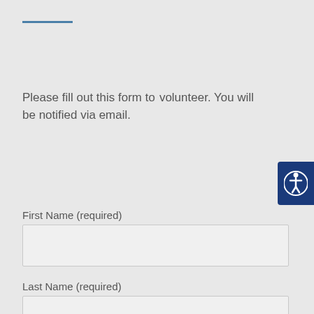Please fill out this form to volunteer. You will be notified via email.
First Name (required)
Last Name (required)
Phone Number (required)
Your Email (required)